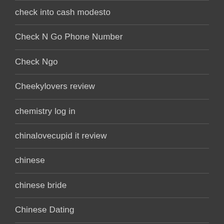check into cash modesto
Check N Go Phone Number
Check Ngo
Cheekylovers review
chemistry log in
chinalovecupid it review
chinese
chinese bride
Chinese Dating
chinese dating sites
chinese mail order bride